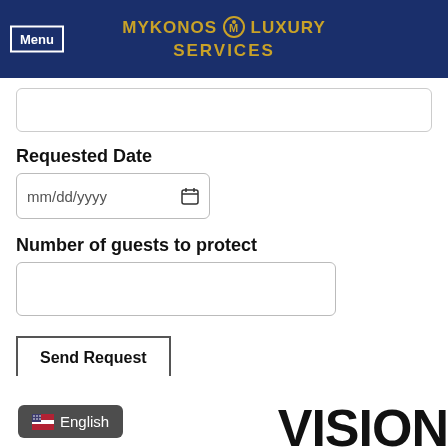Menu | MYKONOS LUXURY SERVICES
Requested Date
mm/dd/yyyy
Number of guests to protect
Send Request
English
VISION